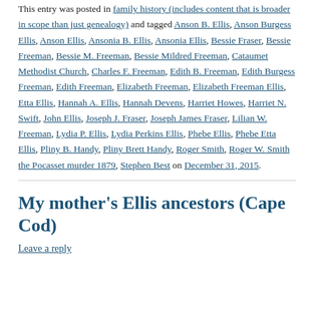This entry was posted in family history (includes content that is broader in scope than just genealogy) and tagged Anson B. Ellis, Anson Burgess Ellis, Anson Ellis, Ansonia B. Ellis, Ansonia Ellis, Bessie Fraser, Bessie Freeman, Bessie M. Freeman, Bessie Mildred Freeman, Cataumet Methodist Church, Charles F. Freeman, Edith B. Freeman, Edith Burgess Freeman, Edith Freeman, Elizabeth Freeman, Elizabeth Freeman Ellis, Etta Ellis, Hannah A. Ellis, Hannah Devens, Harriet Howes, Harriet N. Swift, John Ellis, Joseph J. Fraser, Joseph James Fraser, Lilian W. Freeman, Lydia P. Ellis, Lydia Perkins Ellis, Phebe Ellis, Phebe Etta Ellis, Pliny B. Handy, Pliny Brett Handy, Roger Smith, Roger W. Smith the Pocasset murder 1879, Stephen Best on December 31, 2015.
My mother's Ellis ancestors (Cape Cod)
Leave a reply